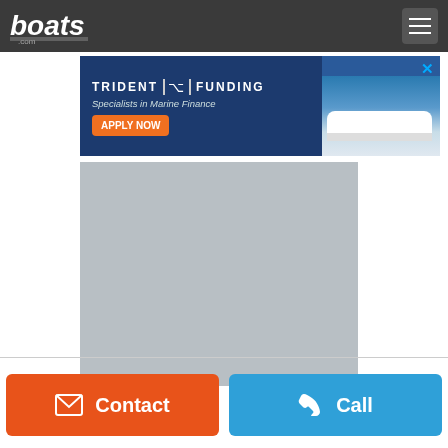boats.com — navigation header with logo and menu button
[Figure (screenshot): Trident Funding advertisement banner — blue background with logo, 'Specialists in Marine Finance', orange 'APPLY NOW' button, and boat photo]
[Figure (photo): Gray placeholder image area for a boat listing photo]
Contact
Call